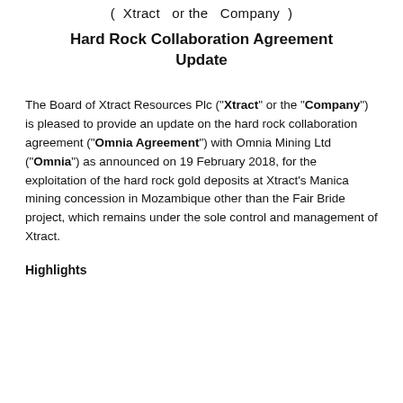( Xtract  or the  Company )
Hard Rock Collaboration Agreement Update
The Board of Xtract Resources Plc (“Xtract” or the “Company”) is pleased to provide an update on the hard rock collaboration agreement (“Omnia Agreement”) with Omnia Mining Ltd (“Omnia”) as announced on 19 February 2018, for the exploitation of the hard rock gold deposits at Xtract’s Manica mining concession in Mozambique other than the Fair Bride project, which remains under the sole control and management of Xtract.
Highlights